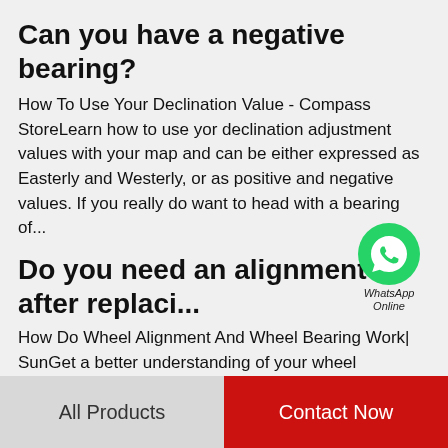Can you have a negative bearing?
How To Use Your Declination Value - Compass StoreLearn how to use yor declination adjustment values with your map and can be either expressed as Easterly and Westerly, or as positive and negative values. If you really do want to head with a bearing of...
[Figure (logo): WhatsApp green circle icon with phone handset, labeled 'WhatsApp Online']
Do you need an alignment after replaci...
How Do Wheel Alignment And Wheel Bearing Work| SunGet a better understanding of your wheel alignment and wheel bearing and know Sometimes a simple alignment is all you need but not always. Because wheel bearings are performing so much work, after...
All Products    Contact Now